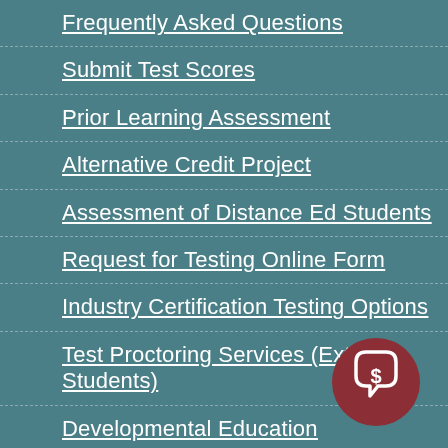Frequently Asked Questions
Submit Test Scores
Prior Learning Assessment
Alternative Credit Project
Assessment of Distance Ed Students
Request for Testing Online Form
Industry Certification Testing Options
Test Proctoring Services (External Students)
Developmental Education
The Learning Collaborative
Campus Map
College Prep
[Figure (logo): Dark red circular chat/messaging icon button in the bottom right corner]